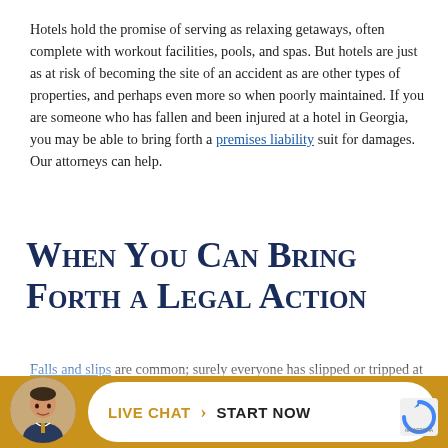Hotels hold the promise of serving as relaxing getaways, often complete with workout facilities, pools, and spas. But hotels are just as at risk of becoming the site of an accident as are other types of properties, and perhaps even more so when poorly maintained. If you are someone who has fallen and been injured at a hotel in Georgia, you may be able to bring forth a premises liability suit for damages. Our attorneys can help.
When You Can Bring Forth a Legal Action
Falls and slips are common; surely everyone has slipped or tripped at some point in their life. However, when slips and falls occur because of the negligent actio... oth...
[Figure (other): Live chat widget bar at the bottom of the page with a lawyer's avatar photo, a white rounded button with 'LIVE CHAT > START NOW' text in gold and black, and a reCAPTCHA icon in the bottom right.]